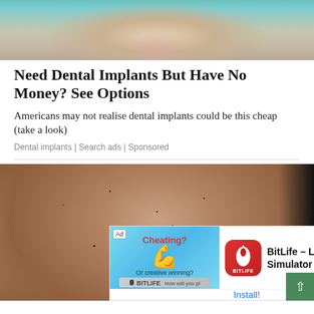[Figure (photo): Dental patient photo: woman in dentist chair with doctor in teal gloves examining her mouth]
Need Dental Implants But Have No Money? See Options
Americans may not realise dental implants could be this cheap (take a look)
Dental implants | Search ads | Sponsored
[Figure (photo): Close-up photo of skin with hair stubble/ingrown hairs, with an overlaid mobile app advertisement for BitLife - Life Simulator]
BitLife - Life Simulator
Install!